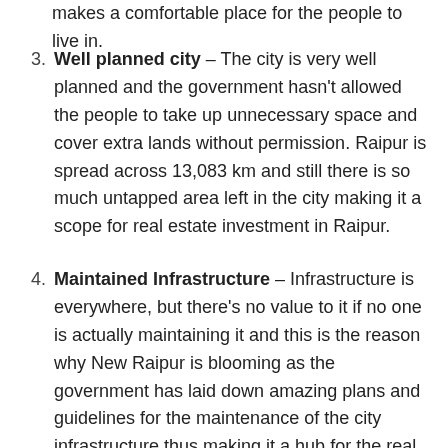makes a comfortable place for the people to live in.
Well planned city – The city is very well planned and the government hasn't allowed the people to take up unnecessary space and cover extra lands without permission. Raipur is spread across 13,083 km and still there is so much untapped area left in the city making it a scope for real estate investment in Raipur.
Maintained Infrastructure – Infrastructure is everywhere, but there's no value to it if no one is actually maintaining it and this is the reason why New Raipur is blooming as the government has laid down amazing plans and guidelines for the maintenance of the city infrastructure thus making it a hub for the real estate investors.
Medical Facility – The most facility you need is of